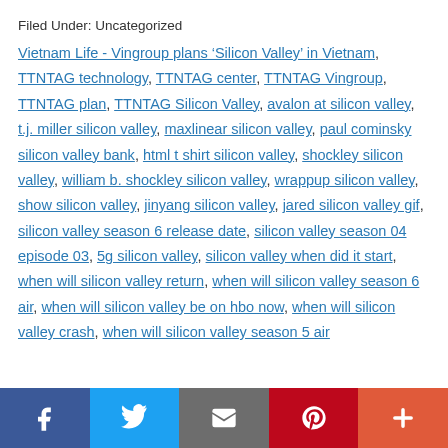Filed Under: Uncategorized
Vietnam Life - Vingroup plans ‘Silicon Valley’ in Vietnam, TTNTAG technology, TTNTAG center, TTNTAG Vingroup, TTNTAG plan, TTNTAG Silicon Valley, avalon at silicon valley, t.j. miller silicon valley, maxlinear silicon valley, paul cominsky silicon valley bank, html t shirt silicon valley, shockley silicon valley, william b. shockley silicon valley, wrappup silicon valley, show silicon valley, jinyang silicon valley, jared silicon valley gif, silicon valley season 6 release date, silicon valley season 04 episode 03, 5g silicon valley, silicon valley when did it start, when will silicon valley return, when will silicon valley season 6 air, when will silicon valley be on hbo now, when will silicon valley crash, when will silicon valley season 5 air